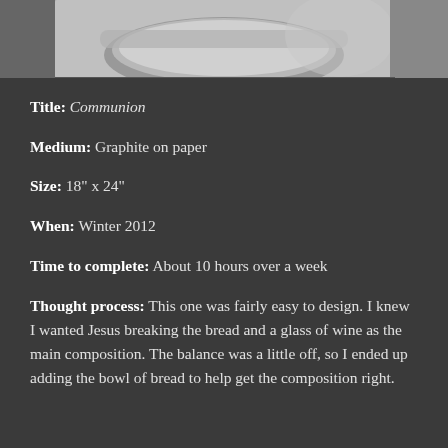[Figure (photo): Grayscale photograph showing a bowl or basket, partially cropped at the top of the page]
Title: Communion
Medium: Graphite on paper
Size: 18" x 24"
When: Winter 2012
Time to complete: About 10 hours over a week
Thought process: This one was fairly easy to design. I knew I wanted Jesus breaking the bread and a glass of wine as the main composition. The balance was a little off, so I ended up adding the bowl of bread to help get the composition right.